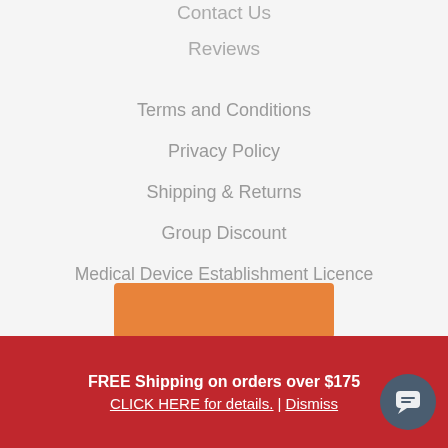Contact Us
Reviews
Terms and Conditions
Privacy Policy
Shipping & Returns
Group Discount
Medical Device Establishment Licence
[Figure (other): Orange button/banner element]
FREE Shipping on orders over $175
CLICK HERE for details. | Dismiss